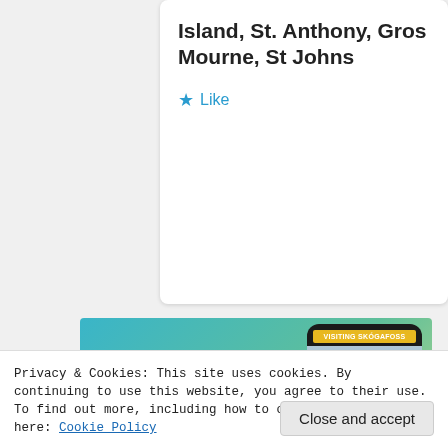Island, St. Anthony, Gros Mourne, St Johns
★ Like
[Figure (screenshot): Ad banner with blue-to-green gradient background showing text 'Create immersive stories.' on the left and a smartphone mockup on the right displaying a waterfall scene labeled 'VISITING SKÓGAFOSS']
Privacy & Cookies: This site uses cookies. By continuing to use this website, you agree to their use.
To find out more, including how to control cookies, see here: Cookie Policy